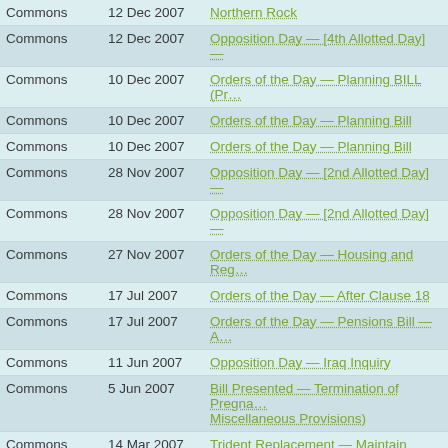| House | Date | Debate |
| --- | --- | --- |
| Commons | 12 Dec 2007 | Northern Rock |
| Commons | 12 Dec 2007 | Opposition Day — [4th Allotted Day] — |
| Commons | 10 Dec 2007 | Orders of the Day — Planning BILL (PR… |
| Commons | 10 Dec 2007 | Orders of the Day — Planning Bill |
| Commons | 10 Dec 2007 | Orders of the Day — Planning Bill |
| Commons | 28 Nov 2007 | Opposition Day — [2nd Allotted Day] — |
| Commons | 28 Nov 2007 | Opposition Day — [2nd Allotted Day] — |
| Commons | 27 Nov 2007 | Orders of the Day — Housing and Reg… |
| Commons | 17 Jul 2007 | Orders of the Day — After Clause 18 |
| Commons | 17 Jul 2007 | Orders of the Day — Pensions Bill — A… |
| Commons | 11 Jun 2007 | Opposition Day — Iraq Inquiry |
| Commons | 5 Jun 2007 | Bill Presented — Termination of Pregna… Miscellaneous Provisions) |
| Commons | 14 Mar 2007 | Trident Replacement — Maintain Nucle… System |
| Commons | 14 Mar 2007 | Trident Replacement — Maintain the U… the Life of The Existing System |
| Commons | 14 Mar 2007 | Point of Order — Contraception and Ab… |
| Commons |  | House of Lords Reform — Remove H… |